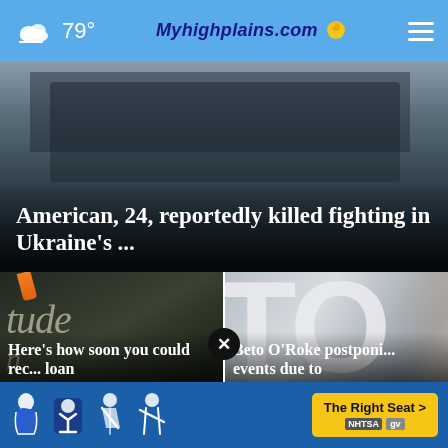79° Myhighplains.com
[Figure (photo): Dark image of military equipment or machinery, low light]
American, 24, reportedly killed fighting in Ukraine's ...
[Figure (photo): Chalk writing on blackboard spelling 'tudes' (students)]
Here's how soon you could rec... loan
[Figure (photo): Large 'TO' letters and a person's face visible on right side]
Beto O'Ro ke postponi... events due to
[Figure (infographic): NHTSA ad banner - The Right Seat with car seat safety icons]